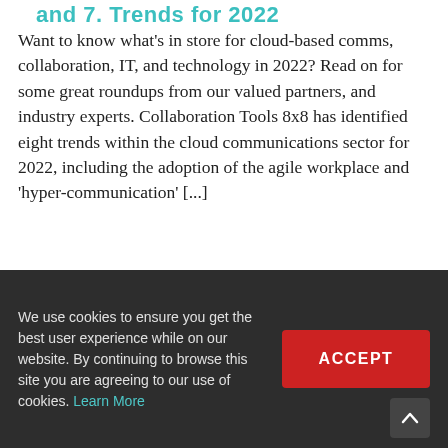and 7. Trends for 2022
Want to know what's in store for cloud-based comms, collaboration, IT, and technology in 2022? Read on for some great roundups from our valued partners, and industry experts. Collaboration Tools 8x8 has identified eight trends within the cloud communications sector for 2022, including the adoption of the agile workplace and 'hyper-communication' [...]
By Arrow | January 24th, 2022 | ArrowVoice
We use cookies to ensure you get the best user experience while on our website. By continuing to browse this site you are agreeing to our use of cookies. Learn More